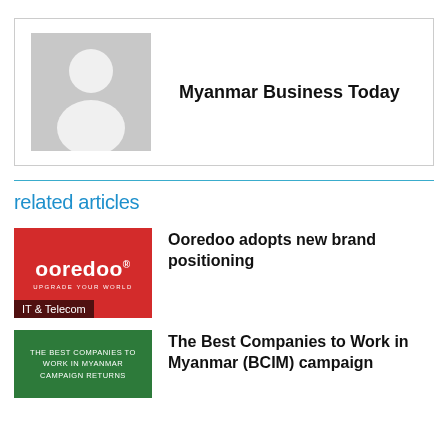[Figure (photo): Author avatar placeholder with grey background and white silhouette person icon, next to text 'Myanmar Business Today']
Myanmar Business Today
related articles
[Figure (photo): Ooredoo logo on red background with tagline 'UPGRADE YOUR WORLD' and category badge 'IT & Telecom']
Ooredoo adopts new brand positioning
[Figure (photo): Green background thumbnail with text 'THE BEST COMPANIES TO WORK IN MYANMAR CAMPAIGN RETURNS']
The Best Companies to Work in Myanmar (BCIM) campaign